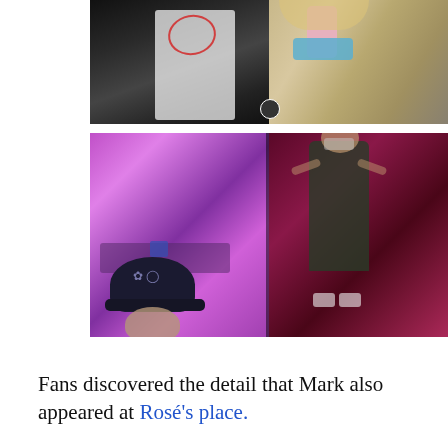[Figure (photo): Two side-by-side photos at top: left shows dark silhouette with a red circle annotation on a white shirt; right shows a blonde person wearing a blue face mask taking a mirror selfie with a pink phone.]
[Figure (photo): Two side-by-side photos in middle: left shows a person in a dark cap with floral/moon design in a purple-lit venue; right shows a woman in a dark dress in a red-lit room.]
Fans discovered the detail that Mark also appeared at Rosé's place.